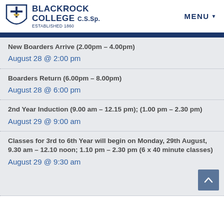BLACKROCK COLLEGE C.S.Sp. ESTABLISHED 1860 | MENU
New Boarders Arrive (2.00pm – 4.00pm)
August 28 @ 2:00 pm
Boarders Return (6.00pm – 8.00pm)
August 28 @ 6:00 pm
2nd Year Induction (9.00 am – 12.15 pm); (1.00 pm – 2.30 pm)
August 29 @ 9:00 am
Classes for 3rd to 6th Year will begin on Monday, 29th August, 9.30 am – 12.10 noon; 1.10 pm – 2.30 pm (6 x 40 minute classes)
August 29 @ 9:30 am